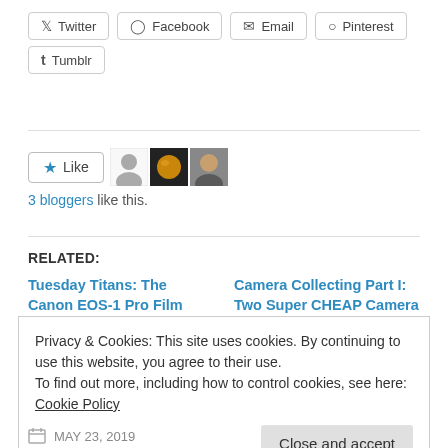Twitter
Facebook
Email
Pinterest
Tumblr
3 bloggers like this.
RELATED:
Tuesday Titans: The Canon EOS-1 Pro Film Camera
December 15, 2015
In "1987"
Camera Collecting Part I: Two Super CHEAP Camera Legends
November 4, 2018
Privacy & Cookies: This site uses cookies. By continuing to use this website, you agree to their use.
To find out more, including how to control cookies, see here: Cookie Policy
Close and accept
MAY 23, 2019